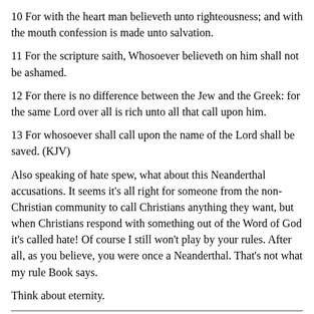10 For with the heart man believeth unto righteousness; and with the mouth confession is made unto salvation.
11 For the scripture saith, Whosoever believeth on him shall not be ashamed.
12 For there is no difference between the Jew and the Greek: for the same Lord over all is rich unto all that call upon him.
13 For whosoever shall call upon the name of the Lord shall be saved. (KJV)
Also speaking of hate spew, what about this Neanderthal accusations. It seems it's all right for someone from the non-Christian community to call Christians anything they want, but when Christians respond with something out of the Word of God it's called hate! Of course I still won't play by your rules. After all, as you believe, you were once a Neanderthal. That's not what my rule Book says.
Think about eternity.
From: Rod Swift <rod@ucc.gu.uwa.edu.au>
Subject: Re: New News to You on Promise Keepers!!!
To: fiz@baptistdepot (Fanhi La Rig)